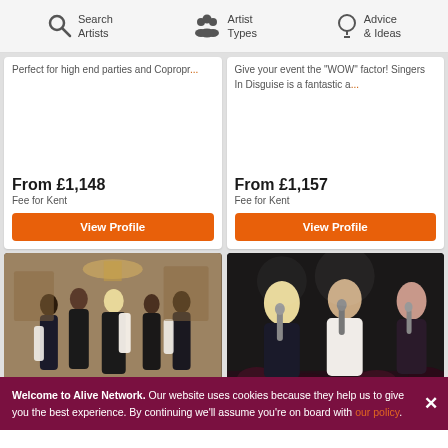Search Artists | Artist Types | Advice & Ideas
Perfect for high end parties and Copropr...
From £1,148
Fee for Kent
View Profile
Give your event the "WOW" factor! Singers In Disguise is a fantastic a...
From £1,157
Fee for Kent
View Profile
[Figure (photo): Group of performers in black outfits in an elegant room with chandelier]
[Figure (photo): Three performers singing with microphones on a dark stage]
Welcome to Alive Network. Our website uses cookies because they help us to give you the best experience. By continuing we'll assume you're on board with our policy.